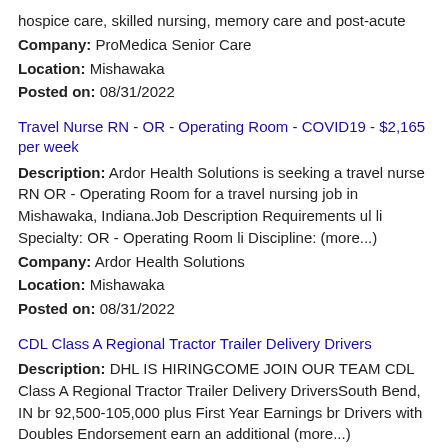hospice care, skilled nursing, memory care and post-acute
Company: ProMedica Senior Care
Location: Mishawaka
Posted on: 08/31/2022
Travel Nurse RN - OR - Operating Room - COVID19 - $2,165 per week
Description: Ardor Health Solutions is seeking a travel nurse RN OR - Operating Room for a travel nursing job in Mishawaka, Indiana.Job Description Requirements ul li Specialty: OR - Operating Room li Discipline: (more...)
Company: Ardor Health Solutions
Location: Mishawaka
Posted on: 08/31/2022
CDL Class A Regional Tractor Trailer Delivery Drivers
Description: DHL IS HIRINGCOME JOIN OUR TEAM CDL Class A Regional Tractor Trailer Delivery DriversSouth Bend, IN br 92,500-105,000 plus First Year Earnings br Drivers with Doubles Endorsement earn an additional (more...)
Company: DHL Supply Chain
Location: Mishawaka
Posted on: 08/31/2022